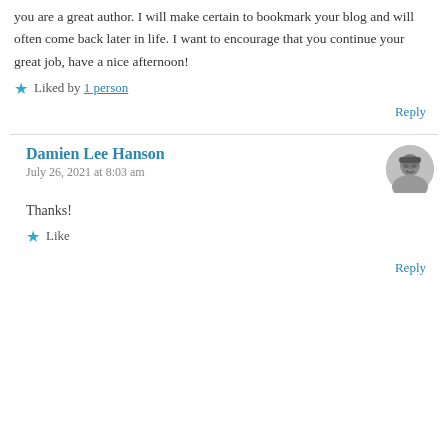you are a great author. I will make certain to bookmark your blog and will often come back later in life. I want to encourage that you continue your great job, have a nice afternoon!
Liked by 1 person
Reply
Damien Lee Hanson
July 26, 2021 at 8:03 am
Thanks!
Like
Reply